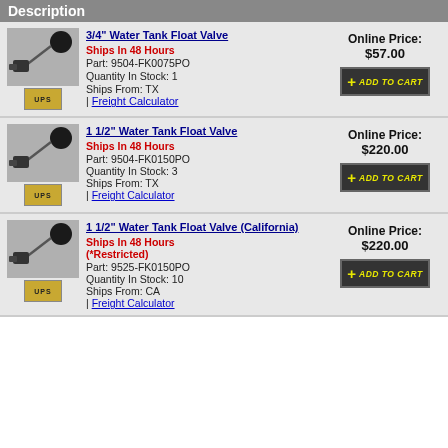Description
| Image | Description | Price/Action |
| --- | --- | --- |
| [float valve image] | 3/4" Water Tank Float Valve
Ships In 48 Hours
Part: 9504-FK0075PO
Quantity In Stock: 1
Ships From: TX
| Freight Calculator | Online Price: $57.00 [ADD TO CART] |
| [float valve image] | 1 1/2" Water Tank Float Valve
Ships In 48 Hours
Part: 9504-FK0150PO
Quantity In Stock: 3
Ships From: TX
| Freight Calculator | Online Price: $220.00 [ADD TO CART] |
| [float valve image] | 1 1/2" Water Tank Float Valve (California)
Ships In 48 Hours
(*Restricted)
Part: 9525-FK0150PO
Quantity In Stock: 10
Ships From: CA
| Freight Calculator | Online Price: $220.00 [ADD TO CART] |